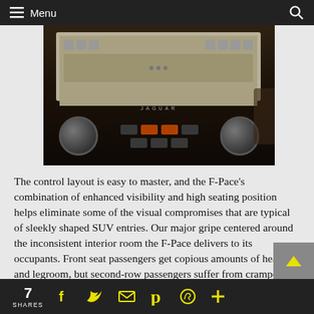Menu
[Figure (photo): Car interior dashboard photo showing a large touchscreen display and controls of a Jaguar F-Pace]
The control layout is easy to master, and the F-Pace's combination of enhanced visibility and high seating position helps eliminate some of the visual compromises that are typical of sleekly shaped SUV entries. Our major gripe centered around the inconsistent interior room the F-Pace delivers to its occupants. Front seat passengers get copious amounts of head and legroom, but second-row passengers suffer from cramped legroom, and taller passengers will find that their heads graze the headliner. Cargo capacity is also deceptively large, and buyers that fold down the seats (via trunk-
7 SHARES